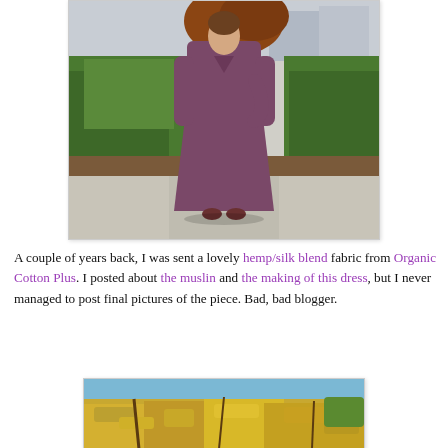[Figure (photo): Woman wearing a long purple/mauve wrap dress with long sleeves, standing outdoors in front of green hedges on a sunny day.]
A couple of years back,  I was sent a lovely hemp/silk blend fabric from Organic Cotton Plus.  I posted about the muslin and the making of this dress, but I never managed to post final pictures of the piece.  Bad, bad blogger.
[Figure (photo): Close-up outdoor photo of autumn foliage — yellow and gold leaves on bushes/trees with a blue sky in the background.]